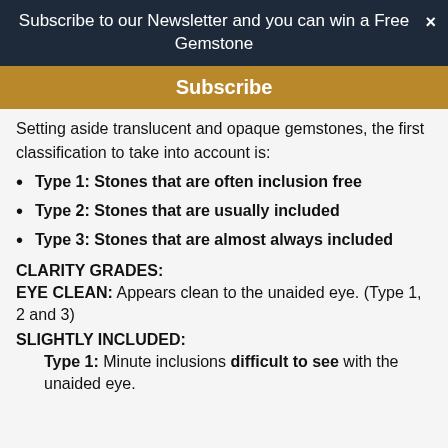Subscribe to our Newsletter and you can win a Free Gemstone ×
Subscribe
Setting aside translucent and opaque gemstones, the first classification to take into account is:
Type 1: Stones that are often inclusion free
Type 2: Stones that are usually included
Type 3: Stones that are almost always included
CLARITY GRADES:
EYE CLEAN: Appears clean to the unaided eye. (Type 1, 2 and 3)
SLIGHTLY INCLUDED:
Type 1: Minute inclusions difficult to see with the unaided eye.